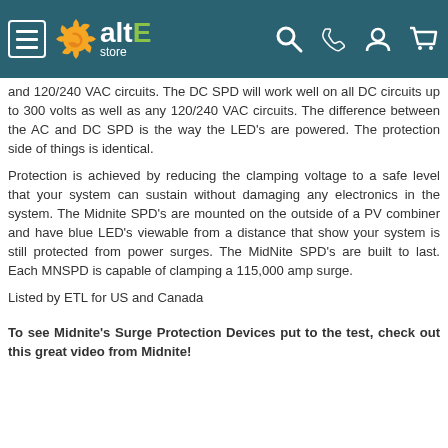altE store
and 120/240 VAC circuits. The DC SPD will work well on all DC circuits up to 300 volts as well as any 120/240 VAC circuits. The difference between the AC and DC SPD is the way the LED's are powered. The protection side of things is identical.
Protection is achieved by reducing the clamping voltage to a safe level that your system can sustain without damaging any electronics in the system. The Midnite SPD's are mounted on the outside of a PV combiner and have blue LED's viewable from a distance that show your system is still protected from power surges. The MidNite SPD's are built to last. Each MNSPD is capable of clamping a 115,000 amp surge.
Listed by ETL for US and Canada
To see Midnite's Surge Protection Devices put to the test, check out this great video from Midnite!